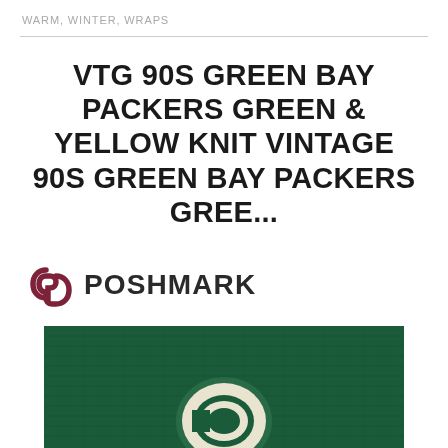WARM, WINTER, WRAPS
VTG 90S GREEN BAY PACKERS GREEN & YELLOW KNIT VINTAGE 90S GREEN BAY PACKERS GREE...
[Figure (logo): Poshmark logo: stylized interlocked P icon in dark red/maroon followed by POSHMARK text in bold dark gray]
[Figure (photo): Close-up photo of a dark green knit beanie/winter hat with a Green Bay Packers oval G logo patch in cream/off-white color]